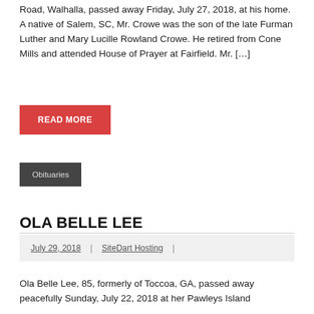Road, Walhalla, passed away Friday, July 27, 2018, at his home. A native of Salem, SC, Mr. Crowe was the son of the late Furman Luther and Mary Lucille Rowland Crowe. He retired from Cone Mills and attended House of Prayer at Fairfield. Mr. […]
READ MORE
Obituaries
OLA BELLE LEE
July 29, 2018 | SiteDart Hosting |
Ola Belle Lee, 85, formerly of Toccoa, GA, passed away peacefully Sunday, July 22, 2018 at her Pawleys Island